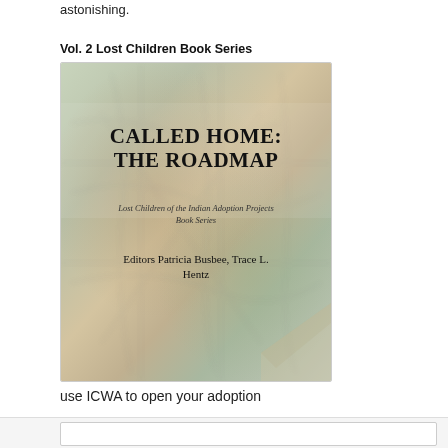astonishing.
Vol. 2 Lost Children Book Series
[Figure (photo): Book cover of 'Called Home: The Roadmap' — Lost Children of the Indian Adoption Projects Book Series, edited by Patricia Busbee and Trace L. Hentz. The cover features a blurred/soft-focus vintage map of the United States as background.]
use ICWA to open your adoption